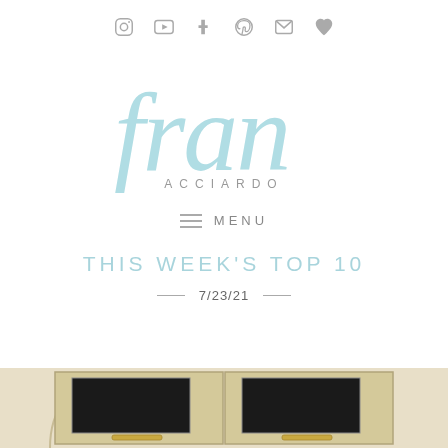social icons: instagram, youtube, tumblr, pinterest, email, heart
[Figure (logo): Fran Acciardo blog logo: cursive 'fran' in light blue with 'ACCIARDO' in grey letter-spaced caps below]
THIS WEEK'S TOP 10
7/23/21
[Figure (photo): Photo of kitchen cabinets, cream/beige color with dark interior panels visible, partial arc shape on the left side of image]